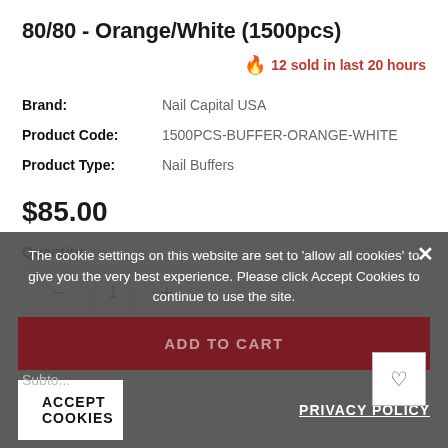80/80 - Orange/White (1500pcs)
12 sold in last 20 hours
| Brand: | Nail Capital USA |
| Product Code: | 1500PCS-BUFFER-ORANGE-WHITE |
| Product Type: | Nail Buffers |
$85.00
Quantity:
The cookie settings on this website are set to 'allow all cookies' to give you the very best experience. Please click Accept Cookies to continue to use the site.
ADD TO CART
ACCEPT COOKIES
PRIVACY POLICY